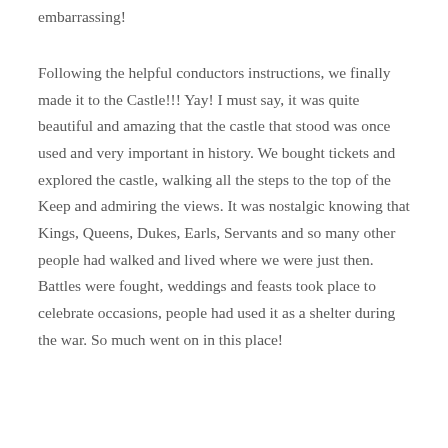embarrassing!
Following the helpful conductors instructions, we finally made it to the Castle!!! Yay! I must say, it was quite beautiful and amazing that the castle that stood was once used and very important in history. We bought tickets and explored the castle, walking all the steps to the top of the Keep and admiring the views. It was nostalgic knowing that Kings, Queens, Dukes, Earls, Servants and so many other people had walked and lived where we were just then. Battles were fought, weddings and feasts took place to celebrate occasions, people had used it as a shelter during the war. So much went on in this place!